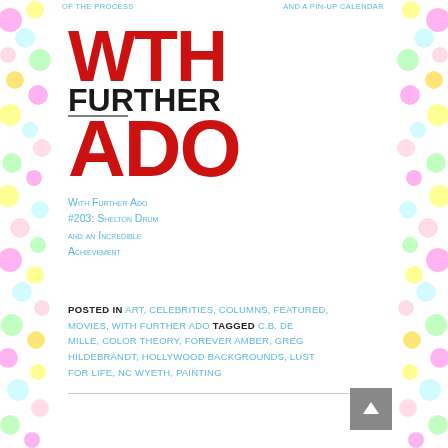OF THE PROCESS   AND A PIN-UP CALENDAR
[Figure (logo): With Further Ado logo: stylized red WTH stacked text with dark FURTHER overlapping, and red ADO below]
With Further Ado #203: Shelton Drum and an Incredible Achievement
POSTED IN ART, CELEBRITIES, COLUMNS, FEATURED, MOVIES, WITH FURTHER ADO TAGGED C.B. DE MILLE, COLOR THEORY, FOREVER AMBER, GREG HILDEBRANDT, HOLLYWOOD BACKGROUNDS, LUST FOR LIFE, NC WYETH, PAINTING